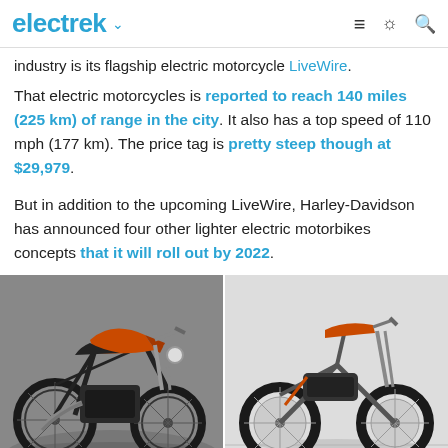electrek ∨   ≡  ☀  🔍
industry is its flagship electric motorcycle LiveWire.
That electric motorcycles is reported to reach 140 miles (225 km) of range in the city. It also has a top speed of 110 mph (177 km). The price tag is pretty steep though at $29,979.
But in addition to the upcoming LiveWire, Harley-Davidson has announced four other lighter electric motorbikes concepts that it will roll out by 2022.
[Figure (photo): Grid of four Harley-Davidson electric motorbike concept images: top-left shows orange flat-tracker style motorcycle on grey background, top-right shows lighter electric bicycle with orange accents on white background, bottom-left shows dark bicycle silhouette on black background, bottom-right shows another bicycle concept on grey background.]